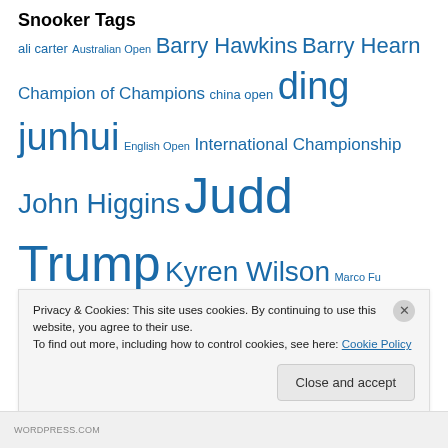Snooker Tags
ali carter Australian Open Barry Hawkins Barry Hearn Champion of Champions china open ding junhui English Open International Championship John Higgins Judd Trump Kyren Wilson Marco Fu mark allen mark selby Mark Williams neil robertson Northern Ireland Open Ronnie O'Sullivan Shanghai Masters Shaun Murphy snooker Stephen Hendry stephen maguire
Privacy & Cookies: This site uses cookies. By continuing to use this website, you agree to their use. To find out more, including how to control cookies, see here: Cookie Policy
Close and accept